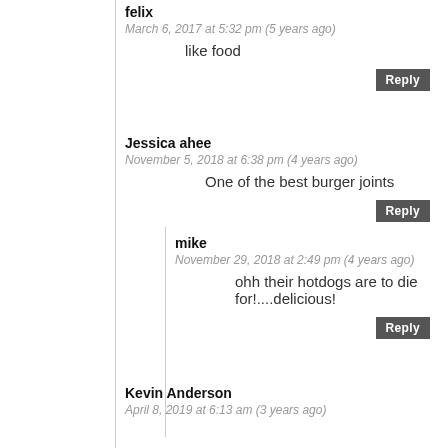felix
March 6, 2017 at 5:32 pm (5 years ago)
like food
Reply
Jessica ahee
November 5, 2018 at 6:38 pm (4 years ago)
One of the best burger joints
Reply
mike
November 29, 2018 at 2:49 pm (4 years ago)
ohh their hotdogs are to die for!....delicious!
Reply
Kevin Anderson
April 8, 2019 at 6:13 am (3 years ago)